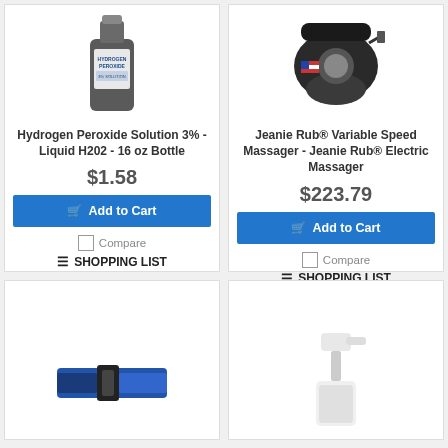[Figure (photo): Hydrogen Peroxide Solution bottle]
Hydrogen Peroxide Solution 3% - Liquid H202 - 16 oz Bottle
$1.58
Add to Cart
Compare
SHOPPING LIST
[Figure (photo): Jeanie Rub Variable Speed Electric Massager]
Jeanie Rub® Variable Speed Massager - Jeanie Rub® Electric Massager
$223.79
Add to Cart
Compare
SHOPPING LIST
[Figure (photo): Blue and black strap/belt product]
[Figure (photo): White pump/dispenser product]